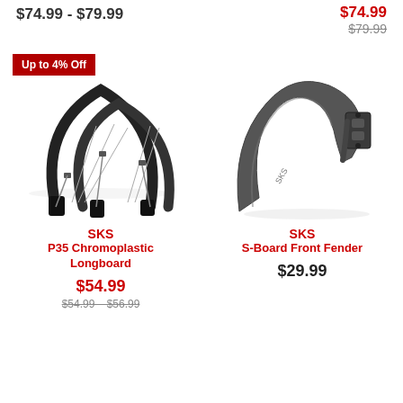$74.99 - $79.99
$74.99
$79.99
Up to 4% Off
[Figure (photo): SKS P35 Chromoplastic Longboard bicycle fenders, black, shown on wheel, front and rear set]
SKS
P35 Chromoplastic Longboard
$54.99
$54.99 - $56.99
[Figure (photo): SKS S-Board Front Fender, black plastic bicycle fender with mounting hardware]
SKS
S-Board Front Fender
$29.99